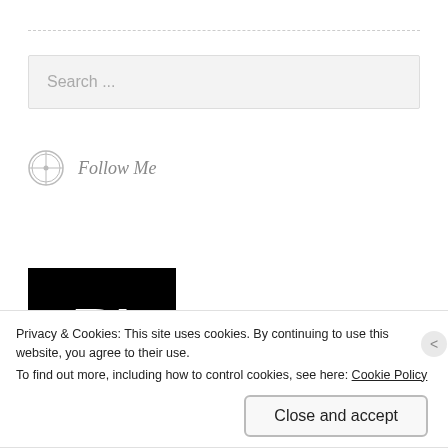[Figure (other): Search input field with placeholder text 'Search ...' on light grey background]
Follow Me
[Figure (logo): Black rectangle with white bold letter B and apostrophe character, representing a blog logo]
Privacy & Cookies: This site uses cookies. By continuing to use this website, you agree to their use.
To find out more, including how to control cookies, see here: Cookie Policy
Close and accept